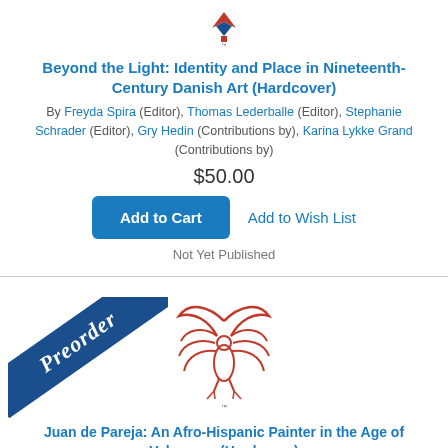[Figure (logo): Publisher logo (red/blue stylized mark) at top of first product section]
Beyond the Light: Identity and Place in Nineteenth-Century Danish Art (Hardcover)
By Freyda Spira (Editor), Thomas Lederballe (Editor), Stephanie Schrader (Editor), Gry Hedin (Contributions by), Karina Lykke Grand (Contributions by)
$50.00
Add to Cart
Add to Wish List
Not Yet Published
[Figure (logo): Preorder diagonal blue banner badge on second product section]
[Figure (logo): Publisher logo (red stylized bird/figure mark) for second product]
Juan de Pareja: An Afro-Hispanic Painter in the Age of Velazquez (Hardcover)